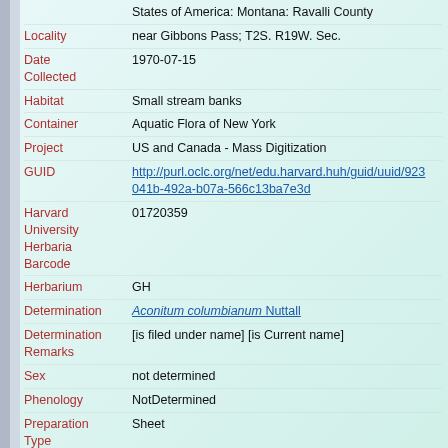States of America: Montana: Ravalli County
Locality: near Gibbons Pass; T2S. R19W. Sec.
Date Collected: 1970-07-15
Habitat: Small stream banks
Container: Aquatic Flora of New York
Project: US and Canada - Mass Digitization
GUID: http://purl.oclc.org/net/edu.harvard.huh/guid/uuid/923041b-492a-b07a-566c13ba7e3d
Harvard University Herbaria Barcode: 01720359
Herbarium: GH
Determination: Aconitum columbianum Nuttall
Determination Remarks: [is filed under name] [is Current name]
Sex: not determined
Phenology: NotDetermined
Preparation Type: Sheet
Preparation Method: Pressed